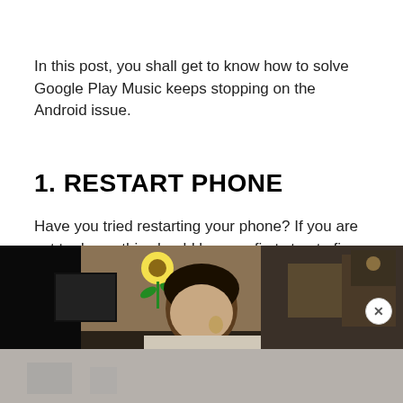In this post, you shall get to know how to solve Google Play Music keeps stopping on the Android issue.
1. RESTART PHONE
Have you tried restarting your phone? If you are yet to do so, this should be your first step to fix the Google Play Music keeps stopping issue.
[Figure (photo): A person sitting in an office-like environment, with various items visible in the background including a flower decoration and shelving. The lower portion shows a faded/grey overlay section.]